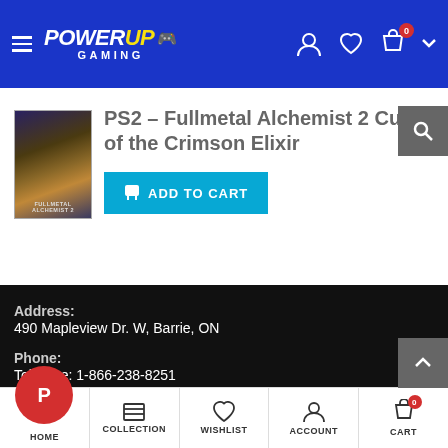PowerUp Gaming — navigation header with logo, hamburger menu, user icon, wishlist icon, cart icon with badge 0
PS2 – Fullmetal Alchemist 2 Curse of the Crimson Elixir
[Figure (photo): PS2 Fullmetal Alchemist 2 Curse of the Crimson Elixir game cover art]
ADD TO CART button
Address:
490 Mapleview Dr. W, Barrie, ON
Phone:
Toll-Free: 1-866-238-8251
Local: (705) 503-4263
Em[ail:]
HOME   COLLECTION   WISHLIST   ACCOUNT   CART